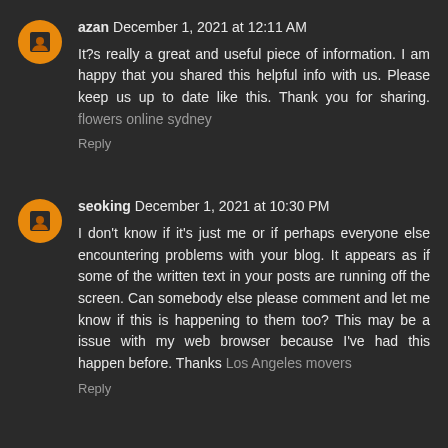azan December 1, 2021 at 12:11 AM
It?s really a great and useful piece of information. I am happy that you shared this helpful info with us. Please keep us up to date like this. Thank you for sharing. flowers online sydney
Reply
seoking December 1, 2021 at 10:30 PM
I don't know if it's just me or if perhaps everyone else encountering problems with your blog. It appears as if some of the written text in your posts are running off the screen. Can somebody else please comment and let me know if this is happening to them too? This may be a issue with my web browser because I've had this happen before. Thanks Los Angeles movers
Reply